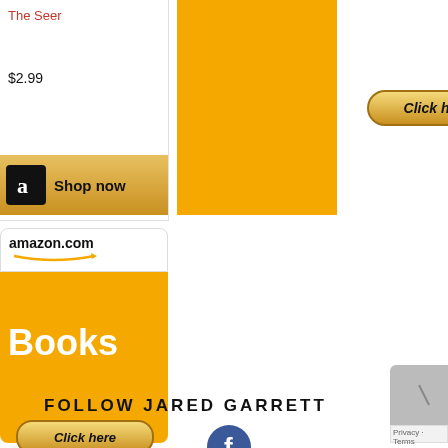[Figure (screenshot): Amazon product ad showing 'The Seer' book at $2.99 with Shop now button and Amazon logo]
[Figure (screenshot): Orange Amazon ad block with Click here button and Privacy information text]
[Figure (screenshot): Amazon.com Books advertisement with orange background, Click here button and Privacy information text]
FOLLOW JARED GARRETT
[Figure (logo): Facebook circular icon in dark blue]
[Figure (screenshot): Gray panel with reCAPTCHA logo, Privacy and Terms text]